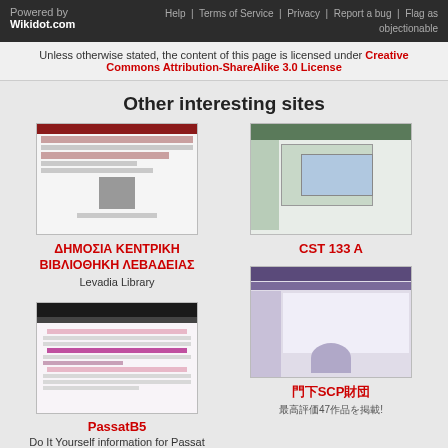Powered by Wikidot.com | Help | Terms of Service | Privacy | Report a bug | Flag as objectionable
Unless otherwise stated, the content of this page is licensed under Creative Commons Attribution-ShareAlike 3.0 License
Other interesting sites
[Figure (screenshot): Screenshot of ΔΗΜΟΣΙΑ ΚΕΝΤΡΙΚΗ ΒΙΒΛΙΟΘΗΚΗ ΛΕΒΑΔΕΙΑΣ website]
ΔΗΜΟΣΙΑ ΚΕΝΤΡΙΚΗ ΒΙΒΛΙΟΘΗΚΗ ΛΕΒΑΔΕΙΑΣ
Levadia Library
[Figure (screenshot): Screenshot of CST 133 A website]
CST 133 A
[Figure (screenshot): Screenshot of 門下SCP財団 website]
門下SCP財団
最高評価47作品を掲載!
[Figure (screenshot): Screenshot of PassatB5 website]
PassatB5
Do It Yourself information for Passat Repair!